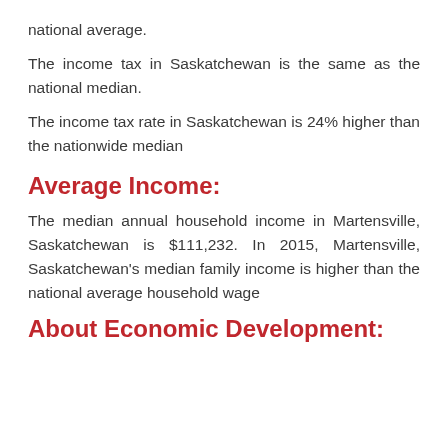national average.
The income tax in Saskatchewan is the same as the national median.
The income tax rate in Saskatchewan is 24% higher than the nationwide median
Average Income:
The median annual household income in Martensville, Saskatchewan is $111,232. In 2015, Martensville, Saskatchewan's median family income is higher than the national average household wage
About Economic Development: